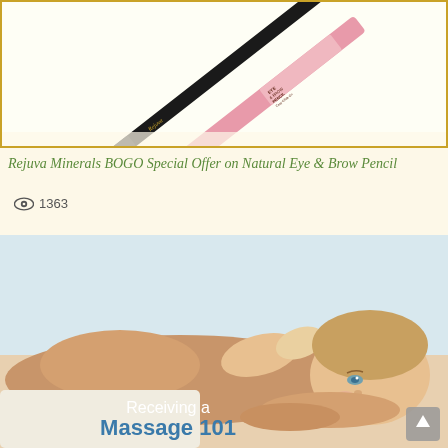[Figure (photo): Product photo of a black eyeliner pencil and a pink eye & brow pencil (Rejuva Minerals brand) crossed diagonally. The pink pencil shows text: EYE & BROW PENCIL, Easy Glide-On Twist-Up Pencil.]
Rejuva Minerals BOGO Special Offer on Natural Eye & Brow Pencil
1363 views
[Figure (photo): Photo of a young woman lying on a massage table receiving a massage. Text overlay reads 'Receiving a Massage 101' in white and blue text.]